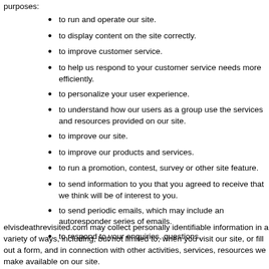purposes:
to run and operate our site.
to display content on the site correctly.
to improve customer service.
to help us respond to your customer service needs more efficiently.
to personalize your user experience.
to understand how our users as a group use the services and resources provided on our site.
to improve our site.
to improve our products and services.
to run a promotion, contest, survey or other site feature.
to send information to you that you agreed to receive that we think will be of interest to you.
to send periodic emails, which may include an autoresponder series of emails.
to respond to your enquiries, questions,
elvisdeathrevisited.com may collect personally identifiable information in a variety of ways, including, but not limited to, when you visit our site, or fill out a form, and in connection with other activities, services, resources we make available on our site.